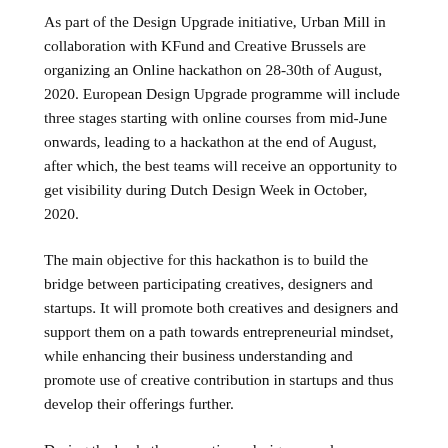As part of the Design Upgrade initiative, Urban Mill in collaboration with KFund and Creative Brussels are organizing an Online hackathon on 28-30th of August, 2020. European Design Upgrade programme will include three stages starting with online courses from mid-June onwards, leading to a hackathon at the end of August, after which, the best teams will receive an opportunity to get visibility during Dutch Design Week in October, 2020.
The main objective for this hackathon is to build the bridge between participating creatives, designers and startups. It will promote both creatives and designers and support them on a path towards entrepreneurial mindset, while enhancing their business understanding and promote use of creative contribution in startups and thus develop their offerings further.
During the hackathon, creatives, designers and